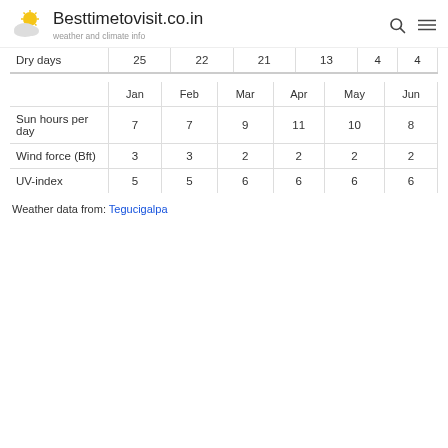Besttimetovisit.co.in — weather and climate info
|  | Jan | Feb | Mar | Apr | May | Jun |
| --- | --- | --- | --- | --- | --- | --- |
| Dry days | 25 | 22 | 21 | 13 | 4 | 4 |
|  | Jan | Feb | Mar | Apr | May | Jun |
| --- | --- | --- | --- | --- | --- | --- |
| Sun hours per day | 7 | 7 | 9 | 11 | 10 | 8 |
| Wind force (Bft) | 3 | 3 | 2 | 2 | 2 | 2 |
| UV-index | 5 | 5 | 6 | 6 | 6 | 6 |
Weather data from: Tegucigalpa